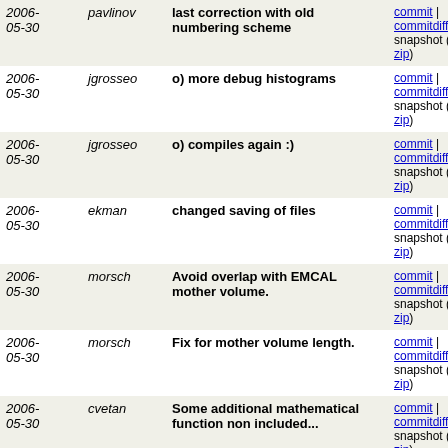| Date | Author | Message | Links |
| --- | --- | --- | --- |
| 2006-05-30 | pavlinov | last correction with old numbering scheme | commit | commitdiff | tree | snapshot (tar.bz2 zip) |
| 2006-05-30 | jgrosseo | o) more debug histograms | commit | commitdiff | tree | snapshot (tar.bz2 zip) |
| 2006-05-30 | jgrosseo | o) compiles again :) | commit | commitdiff | tree | snapshot (tar.bz2 zip) |
| 2006-05-30 | ekman | changed saving of files | commit | commitdiff | tree | snapshot (tar.bz2 zip) |
| 2006-05-30 | morsch | Avoid overlap with EMCAL mother volume. | commit | commitdiff | tree | snapshot (tar.bz2 zip) |
| 2006-05-30 | morsch | Fix for mother volume length. | commit | commitdiff | tree | snapshot (tar.bz2 zip) |
| 2006-05-30 | cvetan | Some additional mathematical function non included... | commit | commitdiff | tree | snapshot (tar.bz2 zip) |
| 2006-05-30 | cvetan | adding poosibility to store object (M.Ivanov) | commit | commitdiff | tree | snapshot (tar.bz2 zip) |
| 2006-05-30 | cvetan | New version of TPC cluster finder which is able to... | commit | commitdiff | tree | snapshot (tar.bz2 zip) |
| 2006-05-30 | morsch | Use TGeoMCGeometry without imposing G3 rules. | commit | commitdiff | tree | snapshot (tar.bz2 zip) |